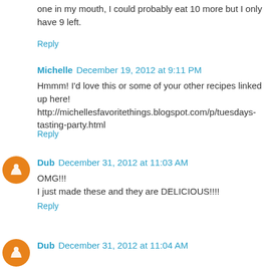one in my mouth, I could probably eat 10 more but I only have 9 left.
Reply
Michelle  December 19, 2012 at 9:11 PM
Hmmm! I'd love this or some of your other recipes linked up here! http://michellesfavoritethings.blogspot.com/p/tuesdays-tasting-party.html
Reply
Dub  December 31, 2012 at 11:03 AM
OMG!!!
I just made these and they are DELICIOUS!!!!
Reply
Dub  December 31, 2012 at 11:04 AM